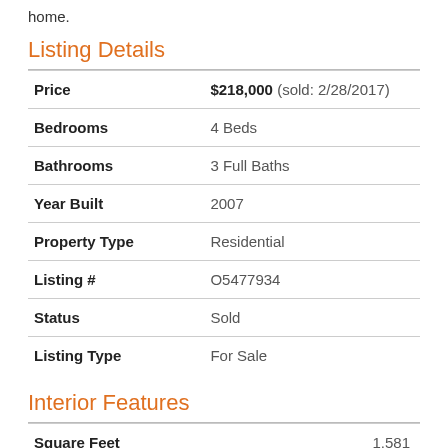home.
Listing Details
| Field | Value |
| --- | --- |
| Price | $218,000 (sold: 2/28/2017) |
| Bedrooms | 4 Beds |
| Bathrooms | 3 Full Baths |
| Year Built | 2007 |
| Property Type | Residential |
| Listing # | O5477934 |
| Status | Sold |
| Listing Type | For Sale |
Interior Features
| Field | Value |
| --- | --- |
| Square Feet | 1,581 |